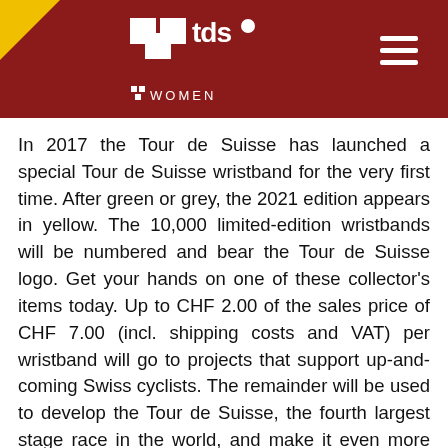[Figure (logo): Tour de Suisse Women logo on dark red header banner with hamburger menu icon]
In 2017 the Tour de Suisse has launched a special Tour de Suisse wristband for the very first time. After green or grey, the 2021 edition appears in yellow. The 10,000 limited-edition wristbands will be numbered and bear the Tour de Suisse logo. Get your hands on one of these collector's items today. Up to CHF 2.00 of the sales price of CHF 7.00 (incl. shipping costs and VAT) per wristband will go to projects that support up-and-coming Swiss cyclists. The remainder will be used to develop the Tour de Suisse, the fourth largest stage race in the world, and make it even more appealing.
During the Tour de Suisse, three instant prizes